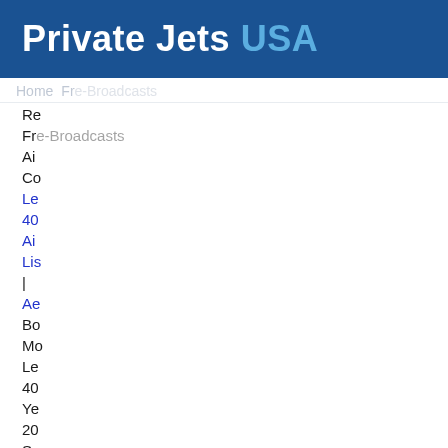Private Jets USA
Home   Fr e-Broadcasts
Re
Fr e-Broadcasts
Ai
Co
Le
40
Ai
Lis
|
Ae
Bo
Mo
Le
40
Ye
20
Se
Nu
20
Re